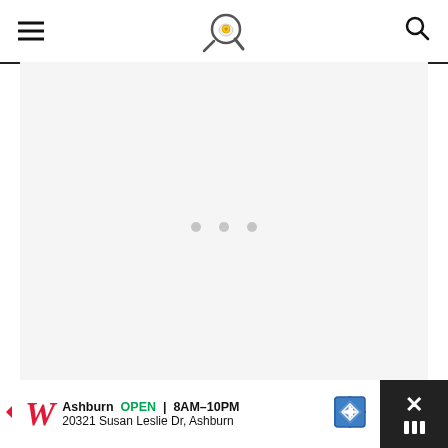Header with hamburger menu, frying pan logo, and search icon
[Figure (other): Large light gray advertisement placeholder area with three dots in the center (carousel indicators)]
TRY THESE OTHER QUICK PASTA RECIPES
[Figure (other): Walgreens advertisement banner: Ashburn OPEN 8AM-10PM, 20321 Susan Leslie Dr, Ashburn, with close button]